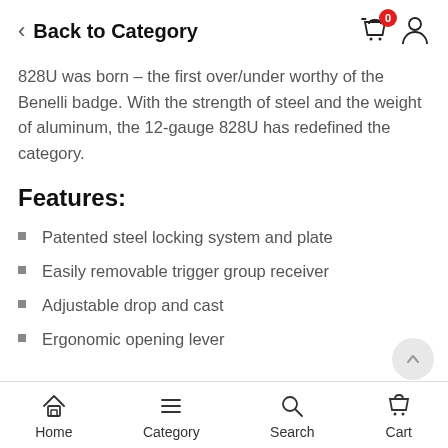< Back to Category
828U was born – the first over/under worthy of the Benelli badge. With the strength of steel and the weight of aluminum, the 12-gauge 828U has redefined the category.
Features:
Patented steel locking system and plate
Easily removable trigger group receiver
Adjustable drop and cast
Ergonomic opening lever
Home  Category  Search  Cart